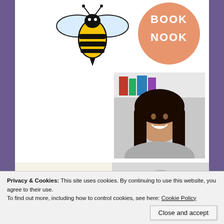[Figure (illustration): Bee logo illustration — black and yellow striped bee with wings]
[Figure (logo): Peach/salmon circular badge with text 'BOOK NOOK' in white letters]
[Figure (photo): Portrait photo of a smiling young woman with long dark wavy hair, bookshelves visible in background]
[Figure (illustration): Light yellow card with dark green pine trees and cursive script text 'The Bashful' with decorative elements]
[Figure (illustration): Gray card with a circular emblem/logo]
Privacy & Cookies: This site uses cookies. By continuing to use this website, you agree to their use.
To find out more, including how to control cookies, see here: Cookie Policy
Close and accept